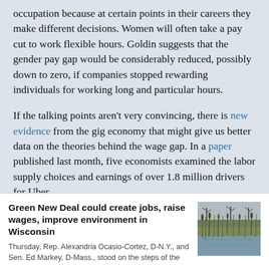occupation because at certain points in their careers they make different decisions. Women will often take a pay cut to work flexible hours. Goldin suggests that the gender pay gap would be considerably reduced, possibly down to zero, if companies stopped rewarding individuals for working long and particular hours.
If the talking points aren't very convincing, there is new evidence from the gig economy that might give us better data on the theories behind the wage gap. In a paper published last month, five economists examined the labor supply choices and earnings of over 1.8 million drivers for Uber.
Green New Deal could create jobs, raise wages, improve environment in Wisconsin
Thursday, Rep. Alexandria Ocasio-Cortez, D-N.Y., and Sen. Ed Markey, D-Mass., stood on the steps of the
[Figure (photo): Outdoor wetland/marsh scene with reeds and water, bare trees in background, overcast sky.]